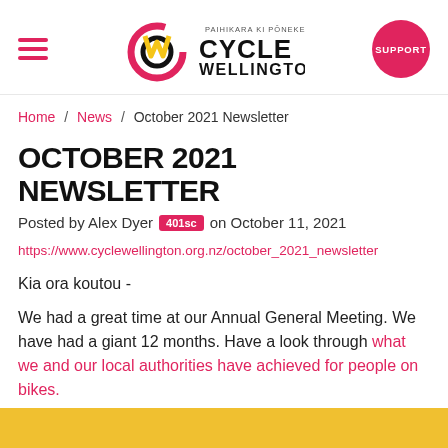Cycle Wellington — SUPPORT
Home / News / October 2021 Newsletter
OCTOBER 2021 NEWSLETTER
Posted by Alex Dyer 401sc on October 11, 2021
https://www.cyclewellington.org.nz/october_2021_newsletter
Kia ora koutou -
We had a great time at our Annual General Meeting. We have had a giant 12 months. Have a look through what we and our local authorities have achieved for people on bikes.